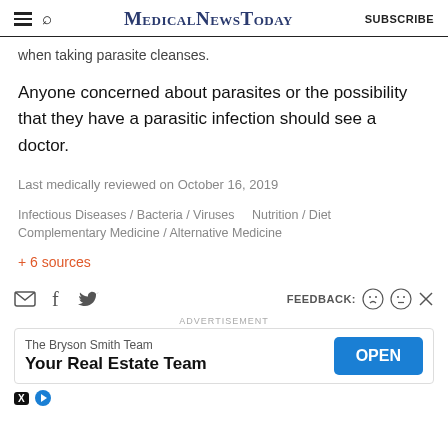MedicalNewsToday  SUBSCRIBE
when taking parasite cleanses.
Anyone concerned about parasites or the possibility that they have a parasitic infection should see a doctor.
Last medically reviewed on October 16, 2019
Infectious Diseases / Bacteria / Viruses   Nutrition / Diet   Complementary Medicine / Alternative Medicine
+ 6 sources
ADVERTISEMENT
The Bryson Smith Team
Your Real Estate Team  OPEN